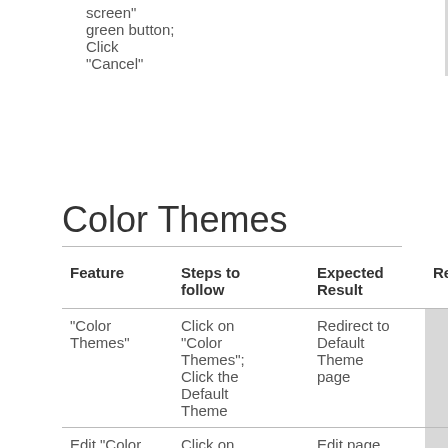| Feature | Steps to follow | Expected Result | Result | JIRA |
| --- | --- | --- | --- | --- |
| "Color Themes" | Click on "Color Themes"; Click the Default Theme | Redirect to Default Theme page | Not Tested | - |
| Edit "Color Themes" | Click on "Color Themes"; Click the Default | Edit page of Theme | Not Tested | - |